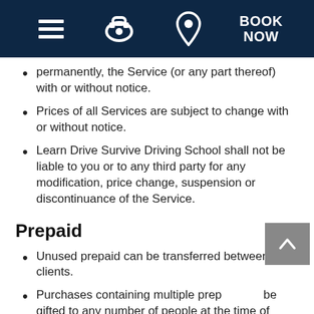Navigation header with hamburger menu, phone icon, location icon, and BOOK NOW button
permanently, the Service (or any part thereof) with or without notice.
Prices of all Services are subject to change with or without notice.
Learn Drive Survive Driving School shall not be liable to you or to any third party for any modification, price change, suspension or discontinuance of the Service.
Prepaid
Unused prepaid can be transferred between clients.
Purchases containing multiple prepaid can be gifted to any number of people at the time of purchase.
Prepaid are valid for 36 months from the